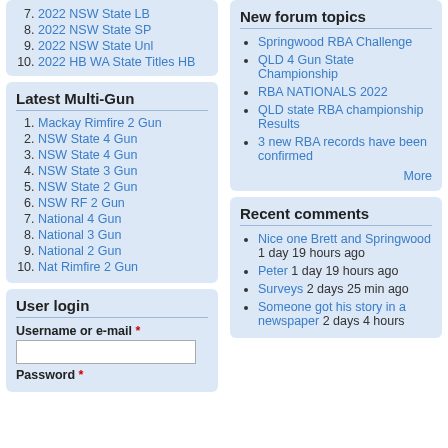7. 2022 NSW State LB
8. 2022 NSW State SP
9. 2022 NSW State Unl
10. 2022 HB WA State Titles HB
Latest Multi-Gun
1. Mackay Rimfire 2 Gun
2. NSW State 4 Gun
3. NSW State 4 Gun
4. NSW State 3 Gun
5. NSW State 2 Gun
6. NSW RF 2 Gun
7. National 4 Gun
8. National 3 Gun
9. National 2 Gun
10. Nat Rimfire 2 Gun
User login
Username or e-mail *
Password *
New forum topics
Springwood RBA Challenge
QLD 4 Gun State Championship
RBA NATIONALS 2022
QLD state RBA championship Results
3 new RBA records have been confirmed
More
Recent comments
Nice one Brett and Springwood 1 day 19 hours ago
Peter 1 day 19 hours ago
Surveys  2 days 25 min ago
Someone got his story in a newspaper  2 days 4 hours